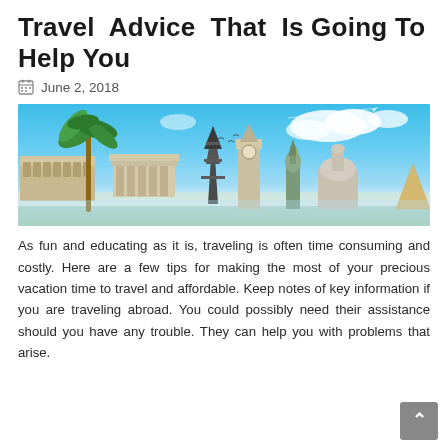Travel Advice That Is Going To Help You
June 2, 2018
[Figure (photo): Composite travel photo featuring world landmarks including the Eiffel Tower, Statue of Liberty, Big Ben, Colosseum, Pyramid, and a palm tree against a blue sky with an airplane flying overhead.]
As fun and educating as it is, traveling is often time consuming and costly. Here are a few tips for making the most of your precious vacation time to travel and affordable. Keep notes of key information if you are traveling abroad. You could possibly need their assistance should you have any trouble. They can help you with problems that arise.